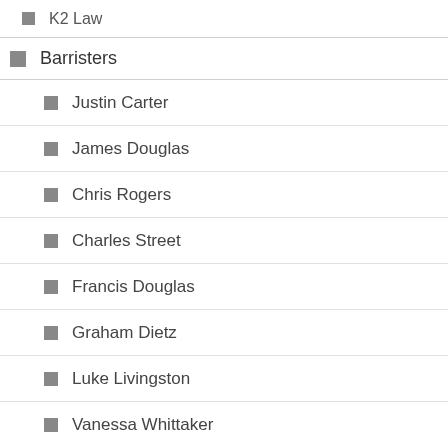K2 Law
Barristers
Justin Carter
James Douglas
Chris Rogers
Charles Street
Francis Douglas
Graham Dietz
Luke Livingston
Vanessa Whittaker